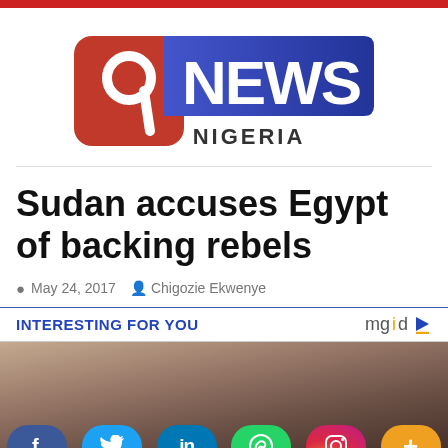[Figure (logo): 9News Nigeria logo with red square containing number 9 and blue gradient NEWS banner with NIGERIA text below]
Sudan accuses Egypt of backing rebels
May 24, 2017  Chigozie Ekwenye
INTERESTING FOR YOU
[Figure (photo): Thumbnail photo of people's faces partially visible at bottom of screen]
[Figure (infographic): Social media sharing buttons: Facebook, Twitter, LinkedIn, WhatsApp, Instagram, More]